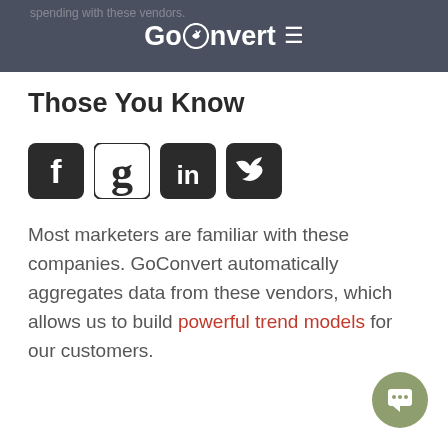GoConvert
Those You Know
[Figure (logo): Four social media icons: Facebook, Google+, LinkedIn, Twitter]
Most marketers are familiar with these companies. GoConvert automatically aggregates data from these vendors, which allows us to build powerful trend models for our customers.